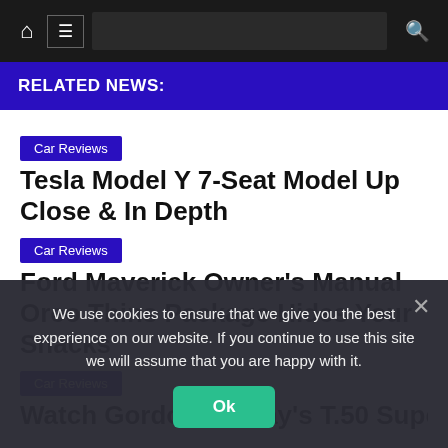Navigation bar with home icon, menu icon, search bar, and search icon
RELATED NEWS:
Car Reviews
Tesla Model Y 7-Seat Model Up Close & In Depth
Car Reviews
Ford Maverick Owner's Manual Oreo Thins Package Hides Your Snacks
Car Reviews
Watch Gordon Murray's T.50 Supercar Tortured
We use cookies to ensure that we give you the best experience on our website. If you continue to use this site we will assume that you are happy with it.